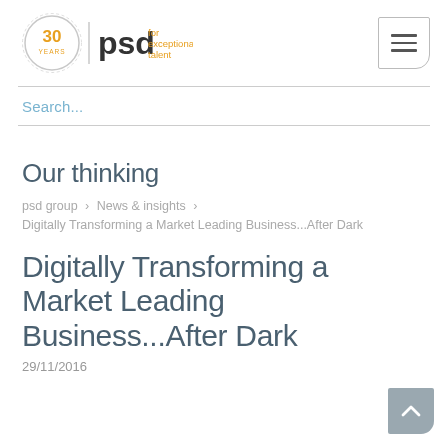[Figure (logo): PSD Group logo with '30 years' badge and 'psd for exceptional talent' text]
[Figure (other): Hamburger menu button icon with three horizontal lines in a rounded-corner box]
Search...
Our thinking
psd group > News & insights > Digitally Transforming a Market Leading Business...After Dark
Digitally Transforming a Market Leading Business...After Dark
29/11/2016